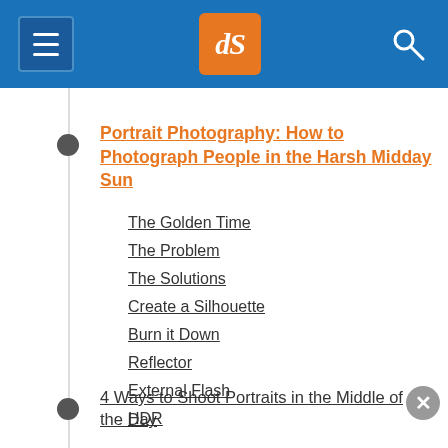[Figure (screenshot): Blue navigation bar with hamburger menu icon on left, orange dPS logo in center, search icon on right]
Portrait Photography: How to Photograph People in the Harsh Midday Sun
The Golden Time
The Problem
The Solutions
Create a Silhouette
Burn it Down
Reflector
External Flash
HDR
4 Ways to Shoot Portraits in the Middle of the Day